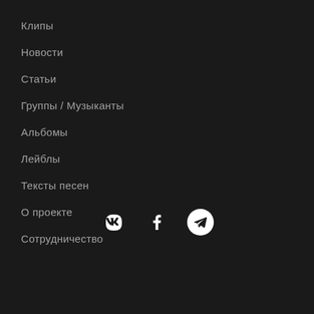Клипы
Новости
Статьи
Группы / Музыканты
Альбомы
Лейблы
Тексты песен
О проекте
Сотрудничество
[Figure (illustration): Social media icons: VK, Facebook, Telegram]